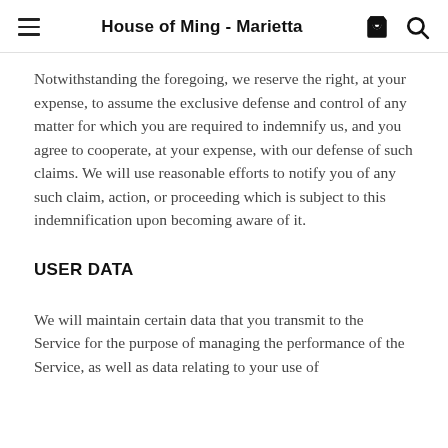House of Ming - Marietta
Notwithstanding the foregoing, we reserve the right, at your expense, to assume the exclusive defense and control of any matter for which you are required to indemnify us, and you agree to cooperate, at your expense, with our defense of such claims. We will use reasonable efforts to notify you of any such claim, action, or proceeding which is subject to this indemnification upon becoming aware of it.
USER DATA
We will maintain certain data that you transmit to the Service for the purpose of managing the performance of the Service, as well as data relating to your use of